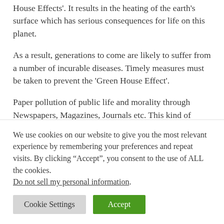House Effects'. It results in the heating of the earth's surface which has serious consequences for life on this planet.
As a result, generations to come are likely to suffer from a number of incurable diseases. Timely measures must be taken to prevent the 'Green House Effect'.
Paper pollution of public life and morality through Newspapers, Magazines, Journals etc. This kind of pollution is closely related to moral pollution, the results of our materialistic greed. Corruption is wide-spread in
We use cookies on our website to give you the most relevant experience by remembering your preferences and repeat visits. By clicking “Accept”, you consent to the use of ALL the cookies. Do not sell my personal information.
Cookie Settings
Accept